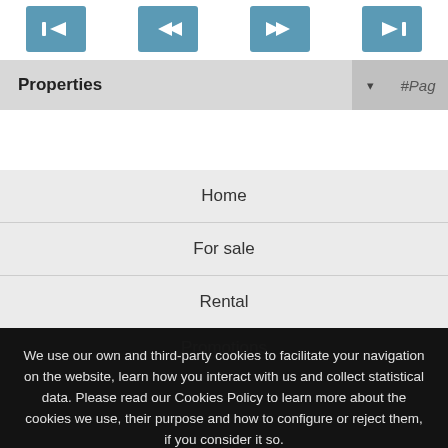[Figure (screenshot): Navigation control buttons (first, rewind, fast-forward, last) in blue/teal color]
Properties ▾ #Pag
Home
For sale
Rental
Promotions
We use our own and third-party cookies to facilitate your navigation on the website, learn how you interact with us and collect statistical data. Please read our Cookies Policy to learn more about the cookies we use, their purpose and how to configure or reject them, if you consider it so.
Accept all   Manage Cookies   Reject
QUESTION?